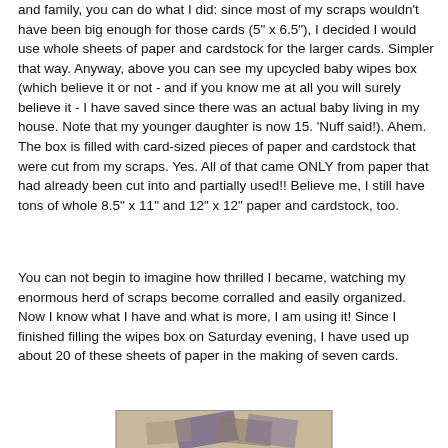and family, you can do what I did: since most of my scraps wouldn't have been big enough for those cards (5" x 6.5"), I decided I would use whole sheets of paper and cardstock for the larger cards. Simpler that way. Anyway, above you can see my upcycled baby wipes box (which believe it or not - and if you know me at all you will surely believe it - I have saved since there was an actual baby living in my house. Note that my younger daughter is now 15. 'Nuff said!). Ahem. The box is filled with card-sized pieces of paper and cardstock that were cut from my scraps. Yes. All of that came ONLY from paper that had already been cut into and partially used!! Believe me, I still have tons of whole 8.5" x 11" and 12" x 12" paper and cardstock, too.
You can not begin to imagine how thrilled I became, watching my enormous herd of scraps become corralled and easily organized. Now I know what I have and what is more, I am using it! Since I finished filling the wipes box on Saturday evening, I have used up about 20 of these sheets of paper in the making of seven cards.
[Figure (photo): A photo showing crafting materials including paper/cardstock pieces on a tan/kraft colored background with purple and other colored elements visible.]